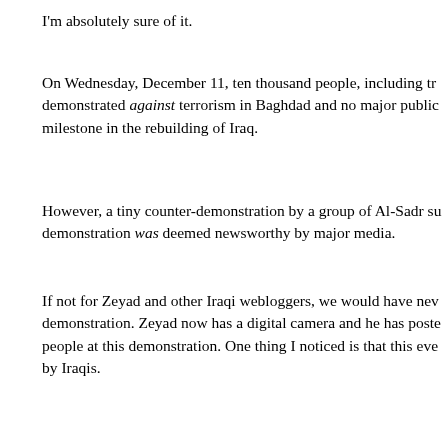I'm absolutely sure of it.
On Wednesday, December 11, ten thousand people, including tr... demonstrated against terrorism in Baghdad and no major public milestone in the rebuilding of Iraq.
However, a tiny counter-demonstration by a group of Al-Sadr su... demonstration was deemed newsworthy by major media.
If not for Zeyad and other Iraqi webloggers, we would have ne... demonstration. Zeyad now has a digital camera and he has poste... people at this demonstration. One thing I noticed is that this eve... by Iraqis.